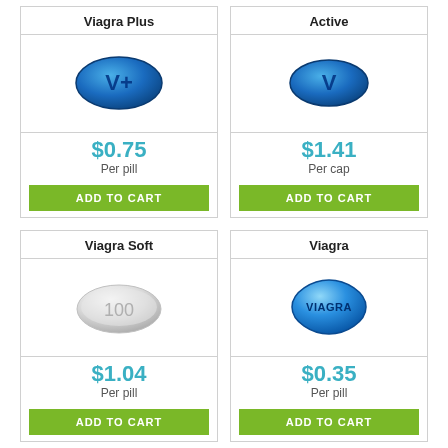Viagra Plus
[Figure (illustration): Blue oval pill with V+ text]
$0.75 Per pill
ADD TO CART
Active
[Figure (illustration): Blue oval pill with V text]
$1.41 Per cap
ADD TO CART
Viagra Soft
[Figure (illustration): White/grey soft pill with 100 text]
$1.04 Per pill
ADD TO CART
Viagra
[Figure (illustration): Blue diamond-shaped Viagra pill with VIAGRA text]
$0.35 Per pill
ADD TO CART